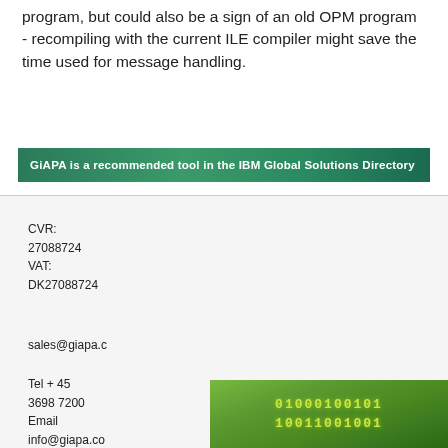program, but could also be a sign of an old OPM program - recompiling with the current ILE compiler might save the time used for message handling.
[Figure (infographic): Green banner stating: GiAPA is a recommended tool in the IBM Global Solutions Directory]
CVR:
27088724
VAT:
DK27088724
sales@giapa.c
Tel + 45
3698 7200
Email
info@giapa.co
[Figure (photo): Binary code image background with green and yellow digits (0s and 1s) on a green gradient background]